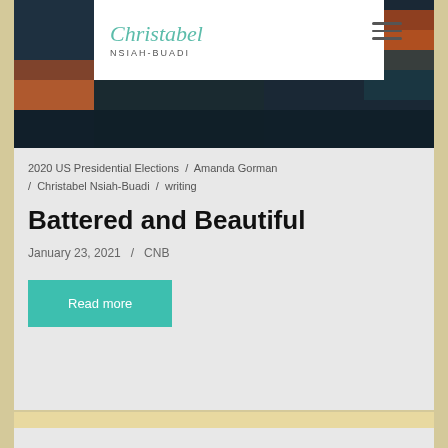[Figure (photo): Hero banner image showing abstract dark sunset/seascape in teal, orange and dark tones behind a white logo box containing 'Christabel NSIAH-BUADI' in script and sans-serif fonts, with a hamburger menu icon on the right.]
2020 US Presidential Elections / Amanda Gorman / Christabel Nsiah-Buadi / writing
Battered and Beautiful
January 23, 2021 / CNB
Read more